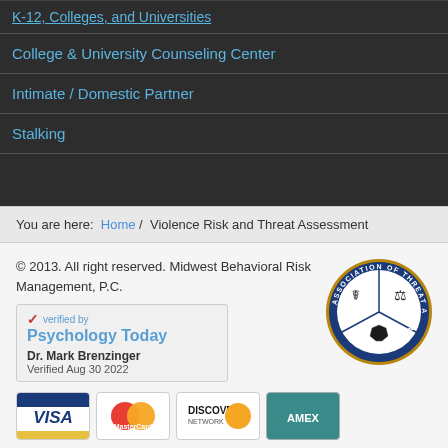K-12, Colleges, and Universities
College & University Counseling Center
Intimate / Domestic Partner
Stalking
You are here: Home / Violence Risk and Threat Assessment
© 2013. All right reserved. Midwest Behavioral Risk Management, P.C.
[Figure (logo): Psychology Today verified badge for Dr. Mark Brenzinger, Verified Aug 30 2022]
[Figure (logo): Association of Threat Assessment Professionals circular seal with caduceus, scales of justice, and police badge]
[Figure (logo): Payment card logos: VISA, MasterCard, Discover, American Express]